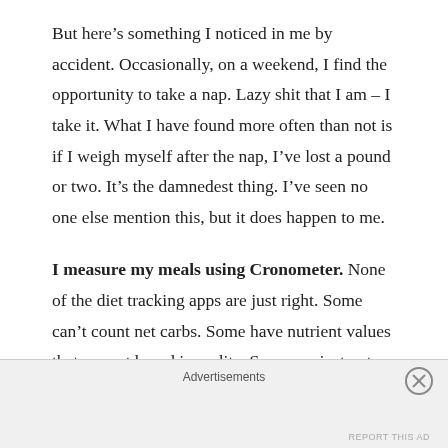But here’s something I noticed in me by accident. Occasionally, on a weekend, I find the opportunity to take a nap. Lazy shit that I am – I take it. What I have found more often than not is if I weigh myself after the nap, I’ve lost a pound or two. It’s the damnedest thing. I’ve seen no one else mention this, but it does happen to me.
I measure my meals using Cronometer. None of the diet tracking apps are just right. Some can’t count net carbs. Some have nutrient values that are not based in reality. Some are just not designed very well. I’ve recently started using Cronometer and while the free
Advertisements